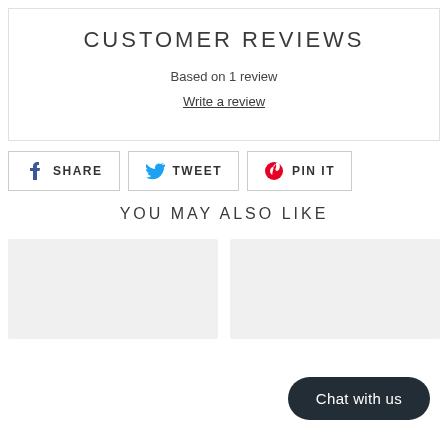CUSTOMER REVIEWS
Based on 1 review
Write a review
SHARE
TWEET
PIN IT
YOU MAY ALSO LIKE
[Figure (other): Two product thumbnail placeholder images side by side]
Chat with us